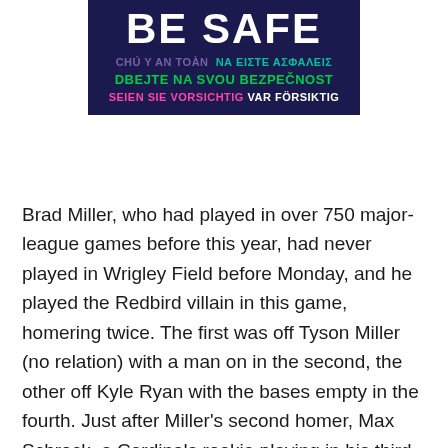[Figure (other): Dark navy banner with multilingual 'BE SAFE' safety message in multiple languages: Vietnamese (CHÚ Y AN TOÀN), Greek (ΝΑ ΕΙΣΤΕ ΑΣΦΑΛΕΙΣ), Czech (DBEJTE NA SVOU BEZPEČNOST), German (SEIEN SIE VORSICHTIG), Swedish (VAR FÖRSIKTIG)]
Brad Miller, who had played in over 750 major-league games before this year, had never played in Wrigley Field before Monday, and he played the Redbird villain in this game, homering twice. The first was off Tyson Miller (no relation) with a man on in the second, the other off Kyle Ryan with the bases empty in the fourth. Just after Miller's second homer, Max Schrock, a Cardinals rookie playing in his third major-league game, also homered to give St. Louis a 4-1 lead. Our old buddy Dexter Fowler went into the right-field bleachers [VIDEO] to retrieve the ball for Schrock.